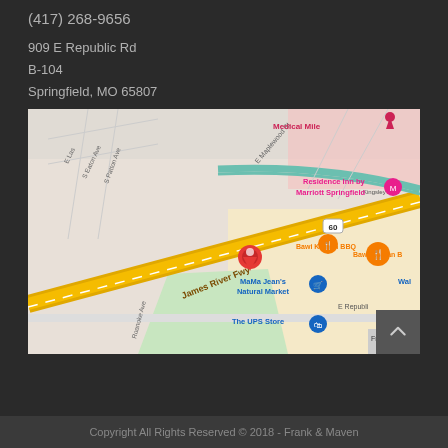(417) 268-9656
909 E Republic Rd
B-104
Springfield, MO 65807
[Figure (map): Google Maps screenshot showing the location near 909 E Republic Rd, Springfield MO 65807. Shows James River Fwy, Bawi Korean BBQ, MaMa Jean's Natural Market, The UPS Store, Residence Inn by Marriott Springfield, Medical Mile. A red pin marks the location.]
Copyright All Rights Reserved © 2018 - Frank & Maven